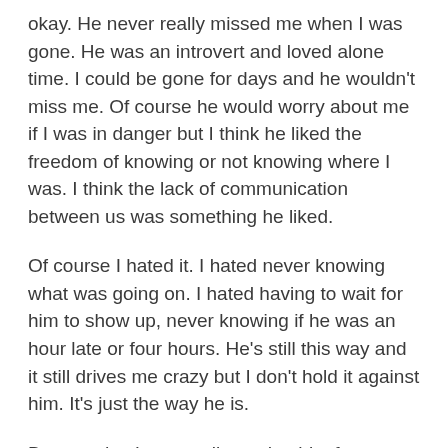okay. He never really missed me when I was gone. He was an introvert and loved alone time. I could be gone for days and he wouldn't miss me. Of course he would worry about me if I was in danger but I think he liked the freedom of knowing or not knowing where I was. I think the lack of communication between us was something he liked.
Of course I hated it. I hated never knowing what was going on. I hated having to wait for him to show up, never knowing if he was an hour late or four hours. He's still this way and it still drives me crazy but I don't hold it against him. It's just the way he is.
But one day I was really mad at him for something. I don't even remember what it was. I took a sticky note, a small one and wrote a little note. I wrote, “What are you, four?” and I stuck it to the top of the spice